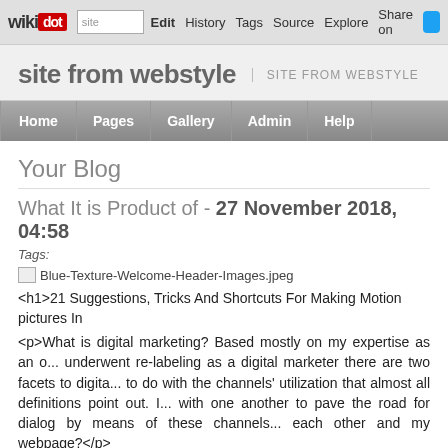wikidot | site | Edit | History | Tags | Source | Explore | Share on [Twitter]
site from webstyle | SITE FROM WEBSTYLE
Home | Pages | Gallery | Admin | Help
Your Blog
What It is Product of - 27 November 2018, 04:58
Tags:
[Figure (photo): Blue-Texture-Welcome-Header-Images.jpeg broken image placeholder]
<h1>21 Suggestions, Tricks And Shortcuts For Making Motion pictures In
<p>What is digital marketing? Based mostly on my expertise as an o... underwent re-labeling as a digital marketer there are two facets to digita... to do with the channels' utilization that almost all definitions point out. I... with one another to pave the road for dialog by means of these channels... each other and my webpage?</p>
<p>You don't must have connections to all that's hip out there. Here is an... lack of channel integration. Considered one of my most favourite comed...